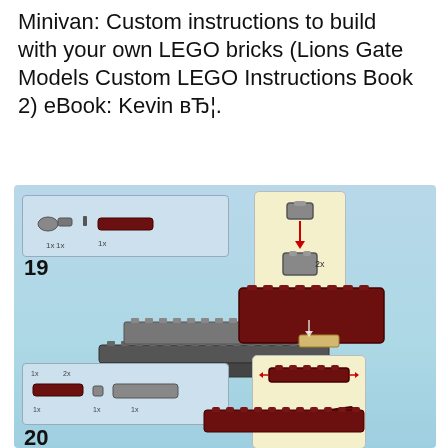Minivan: Custom instructions to build with your own LEGO bricks (Lions Gate Models Custom LEGO Instructions Book 2) eBook: Kevin вЂ¦.
[Figure (illustration): LEGO building instruction page showing steps 19 and 20 for building a minivan. Step 19 shows small LEGO brick parts panel at top left, a highlighted inset box showing 2x of a gray brick piece with a downward red arrow, and a partially assembled dark red and gray LEGO minivan base. Step 20 shows another parts panel at bottom left with dark red and gray pieces, and an inset box showing a dark red 1x6 brick being placed.]